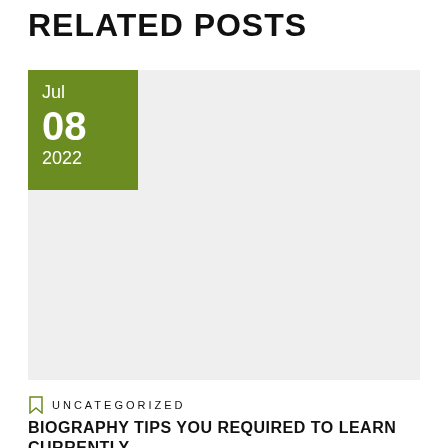RELATED POSTS
[Figure (photo): Gray placeholder image area with a green date badge in the top-left corner showing Jul 08 2022]
UNCATEGORIZED
BIOGRAPHY TIPS YOU REQUIRED TO LEARN CURRENTLY.